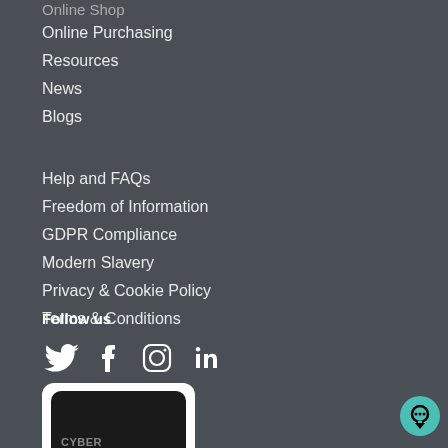Online Shop
Online Purchasing
Resources
News
Blogs
Help and FAQs
Freedom of Information
GDPR Compliance
Modern Slavery
Privacy & Cookie Policy
Terms & Conditions
Follow us
[Figure (infographic): Social media icons: Twitter, Facebook, Instagram, LinkedIn]
[Figure (logo): Cyber Essentials badge with checkmark]
[Figure (other): Chat bubble icon in teal/green circle]